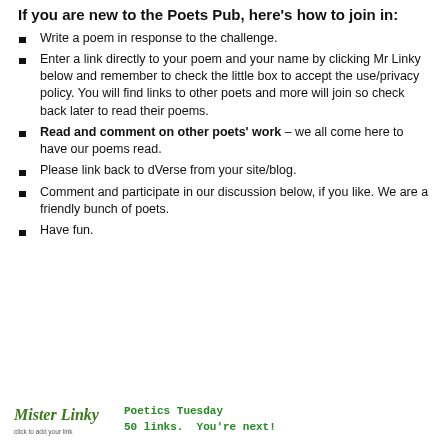If you are new to the Poets Pub, here's how to join in:
Write a poem in response to the challenge.
Enter a link directly to your poem and your name by clicking Mr Linky below and remember to check the little box to accept the use/privacy policy. You will find links to other poets and more will join so check back later to read their poems.
Read and comment on other poets' work – we all come here to have our poems read.
Please link back to dVerse from your site/blog.
Comment and participate in our discussion below, if you like.  We are a friendly bunch of poets.
Have fun.
[Figure (logo): Mister Linky logo with text: Poetics Tuesday 50 links. You're next!]